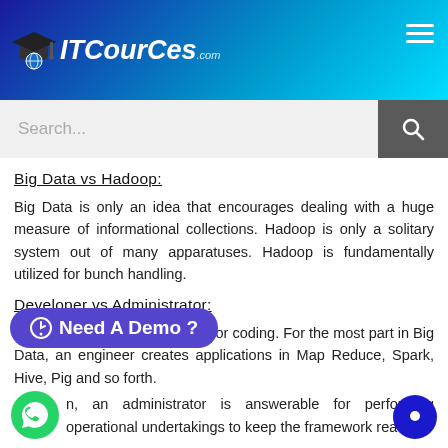ITCourCes.com
[Figure (screenshot): Search bar with text input and search button]
Big Data vs Hadoop:
Big Data is only an idea that encourages dealing with a huge measure of informational collections. Hadoop is only a solitary system out of many apparatuses. Hadoop is fundamentally utilized for bunch handling.
Developer vs Administrator:
able for coding. For the most part in Big Data, an engineer creates applications in Map Reduce, Spark, Hive, Pig and so forth.
an administrator is answerable for performing operational undertakings to keep the framework ready for